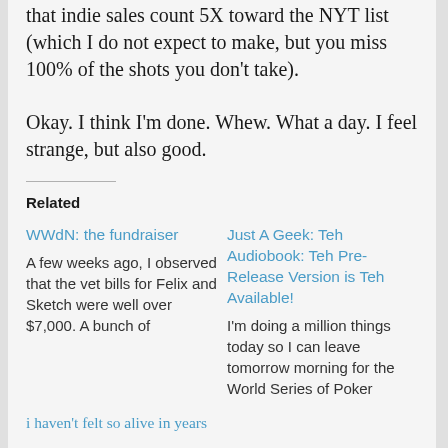that indie sales count 5X toward the NYT list (which I do not expect to make, but you miss 100% of the shots you don't take).
Okay. I think I'm done. Whew. What a day. I feel strange, but also good.
Related
WWdN: the fundraiser
A few weeks ago, I observed that the vet bills for Felix and Sketch were well over $7,000. A bunch of
Just A Geek: Teh Audiobook: Teh Pre-Release Version is Teh Available!
I'm doing a million things today so I can leave tomorrow morning for the World Series of Poker
i haven't felt so alive in years